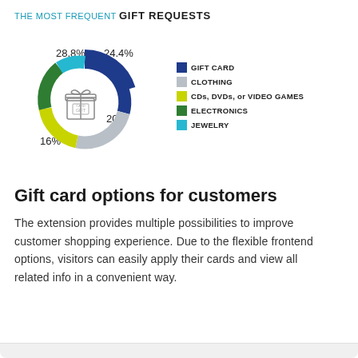[Figure (donut-chart): THE MOST FREQUENT GIFT REQUESTS]
Gift card options for customers
The extension provides multiple possibilities to improve customer shopping experience. Due to the flexible frontend options, visitors can easily apply their cards and view all related info in a convenient way.